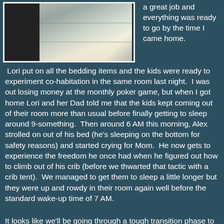[Figure (photo): Photo of wooden bunk bed furniture with glass cabinet/bookcase against a wall, indoor room setting]
a great job and everything was ready to go by the time I came home.
Lori put on all the bedding items and the kids were ready to experiment co-habitation in the same room last night.  I was out losing money at the monthly poker game, but when I got home Lori and her Dad told me that the kids kept coming out of their room more than usual before finally getting to sleep around 9-something.  Then around 6 AM this morning, Alex strolled on out of his bed (he's sleeping on the bottom for safety reasons) and started crying for Mom.  He now gets to experience the freedom he once had when he figured out how to climb out of his crib (before we thwarted that tactic with a crib tent).  We managed to get them to sleep a little longer but they were up and rowdy in their room again well before the standard wake-up time of 7 AM.
It looks like we'll be going through a tough transition phase to get them to "behave" in the morning.  Better to get it out of the way now before Daughter arrives.  We plan on tying the lure of the Wii and television as incentives for being "good"